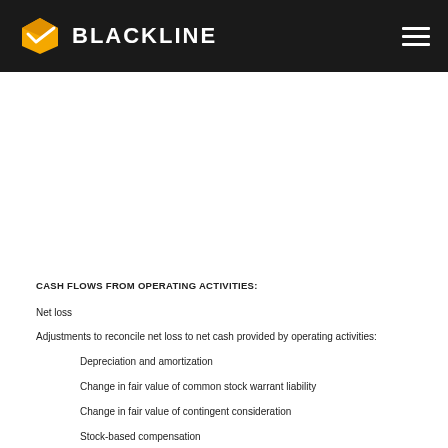BLACKLINE
CASH FLOWS FROM OPERATING ACTIVITIES:
Net loss
Adjustments to reconcile net loss to net cash provided by operating activities:
Depreciation and amortization
Change in fair value of common stock warrant liability
Change in fair value of contingent consideration
Stock-based compensation
(Accretion)/amortization of purchase discounts/premiums on marketable securities, net